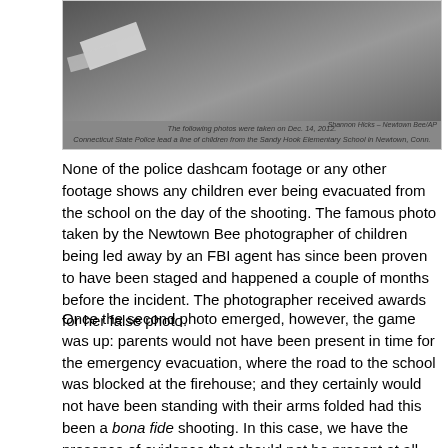[Figure (photo): Aerial/top-down photo of a road surface with white lane markings visible. Photo credit: Shannon Hicks – Newtown Bee/AP]
The following photos were taken on Dec. 14, 2012.
Connecticut State Police lead a line of children from the Sandy Hook Elementary School in Newtown, Conn.
None of the police dashcam footage or any other footage shows any children ever being evacuated from the school on the day of the shooting. The famous photo taken by the Newtown Bee photographer of children being led away by an FBI agent has since been proven to have been staged and happened a couple of months before the incident. The photographer received awards for her false photo.
Once the second photo emerged, however, the game was up: parents would not have been present in time for the emergency evacuation, where the road to the school was blocked at the firehouse; and they certainly would not have been standing with their arms folded had this been a bona fide shooting. In this case, we have the presence of evidence that should not be present at all.